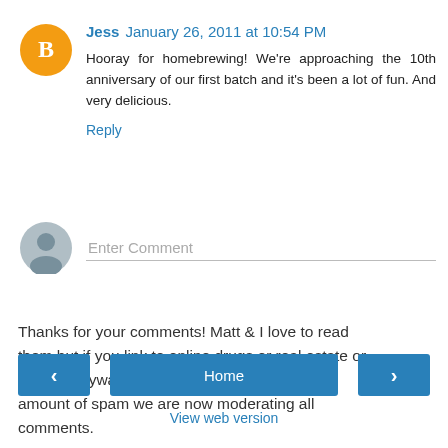Jess  January 26, 2011 at 10:54 PM
Hooray for homebrewing! We're approaching the 10th anniversary of our first batch and it's been a lot of fun. And very delicious.
Reply
Enter Comment
Thanks for your comments! Matt & I love to read them but if you link to online drugs or real estate or such in anyway we will delete you. Due to the amount of spam we are now moderating all comments.
< Home > View web version